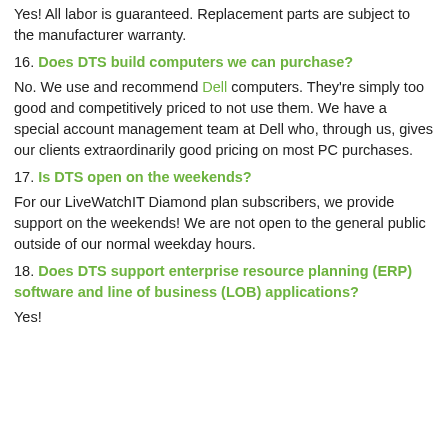Yes! All labor is guaranteed. Replacement parts are subject to the manufacturer warranty.
16. Does DTS build computers we can purchase?
No. We use and recommend Dell computers. They're simply too good and competitively priced to not use them. We have a special account management team at Dell who, through us, gives our clients extraordinarily good pricing on most PC purchases.
17. Is DTS open on the weekends?
For our LiveWatchIT Diamond plan subscribers, we provide support on the weekends! We are not open to the general public outside of our normal weekday hours.
18. Does DTS support enterprise resource planning (ERP) software and line of business (LOB) applications?
Yes!